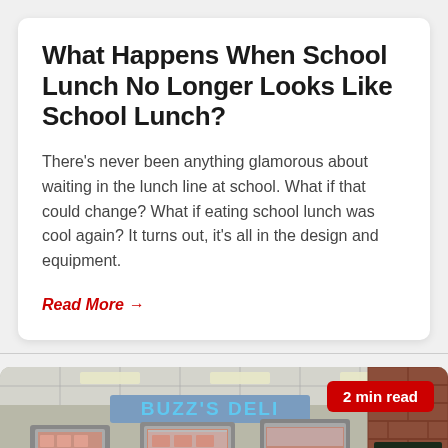What Happens When School Lunch No Longer Looks Like School Lunch?
There's never been anything glamorous about waiting in the lunch line at school. What if that could change? What if eating school lunch was cool again? It turns out, it's all in the design and equipment.
Read More →
[Figure (photo): Interior of a school cafeteria with modern food service equipment, a sign reading BUZZ'S DELI above serving stations, brick wall on the right with a chalkboard, and a red badge showing '2 min read']